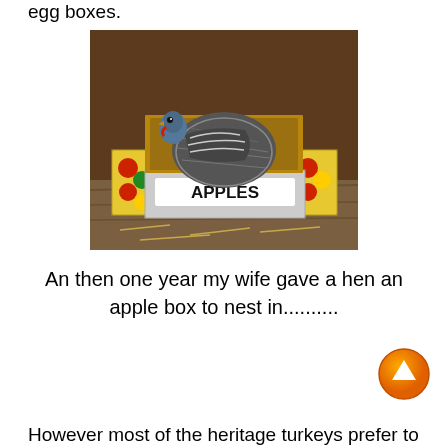egg boxes.
[Figure (photo): A heritage turkey hen sitting inside a colorful apple box labeled 'APPLES', placed on a wooden surface inside a barn or coop.]
An then one year my wife gave a hen an apple box to nest in..........
[Figure (infographic): Orange circular scroll-up button with upward arrow]
However most of the heritage turkeys prefer to